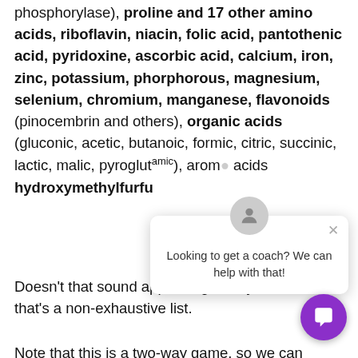phosphorylase), proline and 17 other amino acids, riboflavin, niacin, folic acid, pantothenic acid, pyridoxine, ascorbic acid, calcium, iron, zinc, potassium, phorphorous, magnesium, selenium, chromium, manganese, flavonoids (pinocembrin and others), organic acids (gluconic, acetic, butanoic, formic, citric, succinic, lactic, malic, pyroglutamic), arom… acids hydroxymethylfurfu…
Doesn't that sound appetizing! And you can bet that's a non-exhaustive list.
Note that this is a two-way game, so we can shift